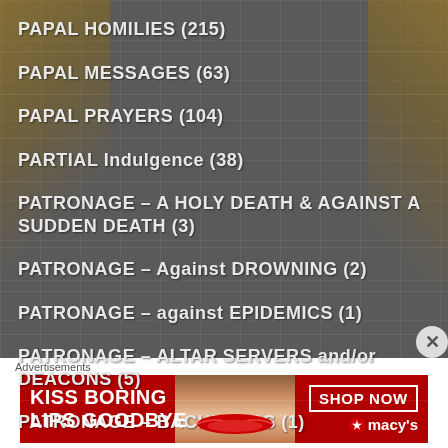PAPAL HOMILIES (215)
PAPAL MESSAGES (63)
PAPAL PRAYERS (104)
PARTIAL Indulgence (38)
PATRONAGE – A HOLY DEATH & AGAINST A SUDDEN DEATH (3)
PATRONAGE – Against DROWNING (2)
PATRONAGE – against EPIDEMICS (1)
PATRONAGE – ALTAR SERVERS and/or DEACONS (5)
PATRONAGE – BACHELORS (1)
PATRONAGE – BANKERS (2)
Advertisements
[Figure (photo): Advertisement banner: red background with woman's face and lips, text 'KISS BORING LIPS GOODBYE', 'SHOP NOW', and Macy's logo]